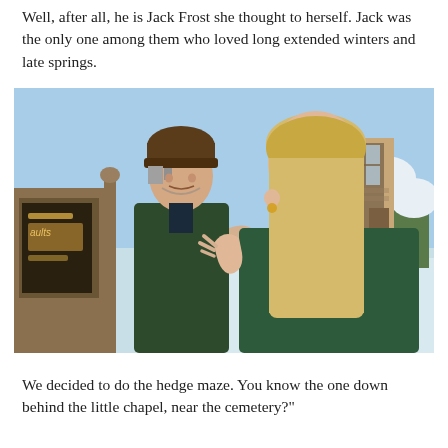Well, after all, he is Jack Frost she thought to herself. Jack was the only one among them who loved long extended winters and late springs.
[Figure (screenshot): A video game screenshot (The Sims) showing two characters standing outside in a winter scene. One character faces the viewer wearing a dark green knit sweater and brown beanie hat with gray hair. The other character has long blonde hair and wears a green top, facing away. Snowy trees and a stone building are visible in the background.]
We decided to do the hedge maze.  You know the one down behind the little chapel, near the cemetery?"